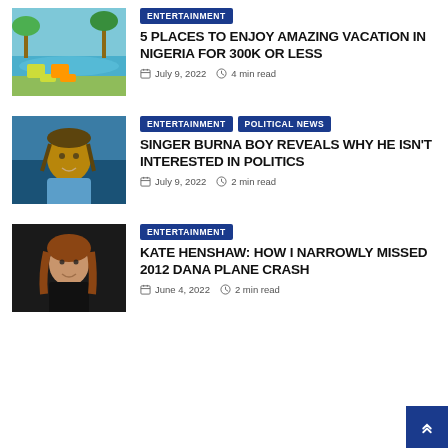[Figure (photo): Thumbnail of a vacation resort with pool and palm trees]
ENTERTAINMENT | 5 PLACES TO ENJOY AMAZING VACATION IN NIGERIA FOR 300K OR LESS | July 9, 2022 | 4 min read
[Figure (photo): Thumbnail portrait of singer Burna Boy smiling]
ENTERTAINMENT | POLITICAL NEWS | SINGER BURNA BOY REVEALS WHY HE ISN'T INTERESTED IN POLITICS | July 9, 2022 | 2 min read
[Figure (photo): Thumbnail portrait of Kate Henshaw]
ENTERTAINMENT | KATE HENSHAW: HOW I NARROWLY MISSED 2012 DANA PLANE CRASH | June 4, 2022 | 2 min read